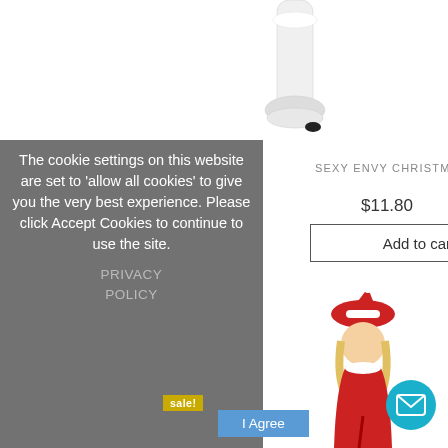[Figure (photo): White Santa boot/leg emerging from top, product photo on e-commerce page]
SEXY ENVY CHRISTMAS COSTUME
$11.80
Add to cart
The cookie settings on this website are set to 'allow all cookies' to give you the very best experience. Please click Accept Cookies to continue to use the site.
PRIVACY POLICY
sale!
I Agree
[Figure (photo): Two blonde women wearing red sexy Santa Christmas costumes, front and back views]
[Figure (other): Teal circular email/chat button with envelope icon]